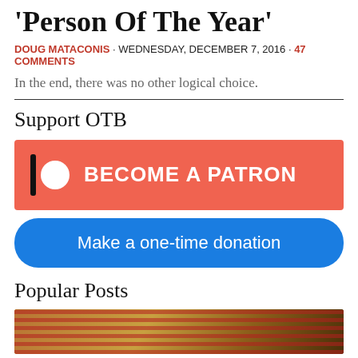'Person Of The Year'
DOUG MATACONIS · WEDNESDAY, DECEMBER 7, 2016 · 47 COMMENTS
In the end, there was no other logical choice.
Support OTB
[Figure (other): Patreon button — salmon/coral background with Patreon logo (vertical bar and circle) and text BECOME A PATRON in white bold uppercase]
[Figure (other): Blue rounded-rectangle button with white text: Make a one-time donation]
Popular Posts
[Figure (photo): Partial photo of an American flag with warm brown/orange tones, bottom portion of page]